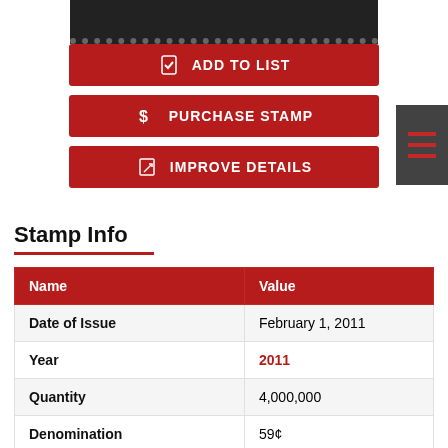[Figure (photo): Top portion of a stamp image with dark background and perforated bottom edge]
ADD TO LIST
PURCHASE STAMP
IMPROVE DETAILS
Stamp Info
| Name | Value |
| --- | --- |
| Date of Issue | February 1, 2011 |
| Year | 2011 |
| Quantity | 4,000,000 |
| Denomination | 59¢ |
| Perforation or Dimension | Simulated perforation |